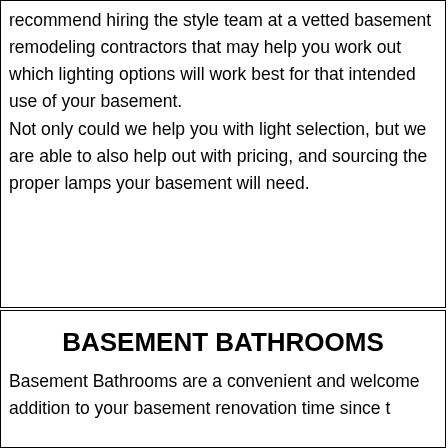recommend hiring the style team at a vetted basement remodeling contractors that may help you work out which lighting options will work best for that intended use of your basement.

Not only could we help you with light selection, but we are able to also help out with pricing, and sourcing the proper lamps your basement will need.
BASEMENT BATHROOMS
Basement Bathrooms are a convenient and welcome addition to your basement renovation time since t